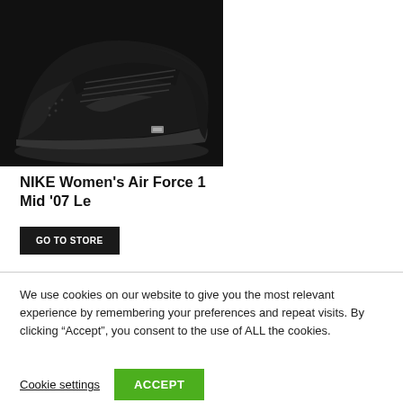[Figure (photo): Black Nike Women's Air Force 1 Mid '07 Le sneaker on white background]
NIKE Women's Air Force 1 Mid '07 Le
GO TO STORE
We use cookies on our website to give you the most relevant experience by remembering your preferences and repeat visits. By clicking “Accept”, you consent to the use of ALL the cookies.
Cookie settings
ACCEPT